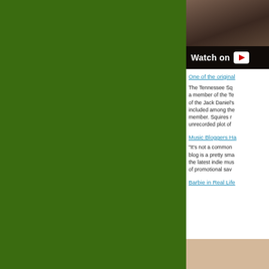[Figure (screenshot): Video thumbnail showing a dark scene with a 'Watch on YouTube' overlay bar at the bottom]
One of the original
The Tennessee Sq... a member of the Te... of the Jack Daniel's... included among the... member. Squires r... unrecorded plot of
Music Bloggers Ha
"It's not a common... blog is a pretty sma... the latest indie mus... of promotional sav
Barbie in Real Life
[Figure (photo): Partial bottom image with beige/tan background]